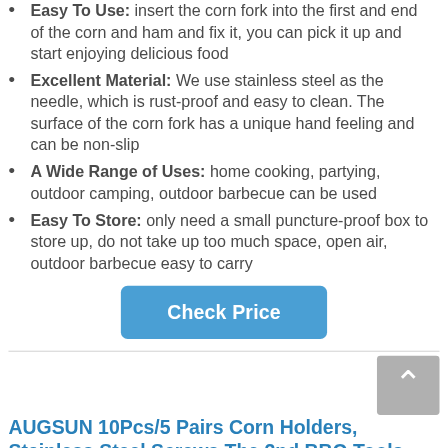Easy To Use: insert the corn fork into the first and end of the corn and ham and fix it, you can pick it up and start enjoying delicious food
Excellent Material: We use stainless steel as the needle, which is rust-proof and easy to clean. The surface of the corn fork has a unique hand feeling and can be non-slip
A Wide Range of Uses: home cooking, partying, outdoor camping, outdoor barbecue can be used
Easy To Store: only need a small puncture-proof box to store up, do not take up too much space, open air, outdoor barbecue easy to carry
Check Price
AUGSUN 10Pcs/5 Pairs Corn Holders, Stainless Steel Screws The 2nd BBQ Tools...